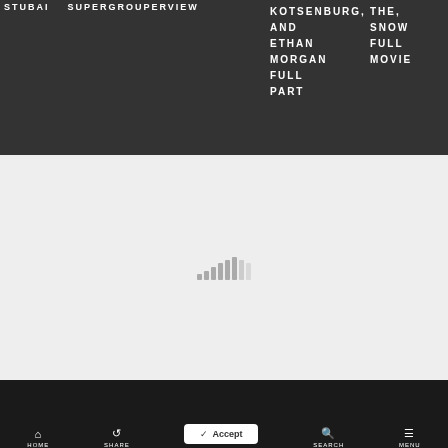STUBAI SUPERGROUPERVIEW AGE ON KOTSENBURG, THE SNOW AND ETHAN MORGAN FULL FULL PART MOVIE
[Figure (other): Loading spinner / signal bars icon in gray on light gray background]
Cookies help us deliver our services. By using this website, you agree to our use of cookies. Learn More
HOME SHARE SEARCH MENU Accept